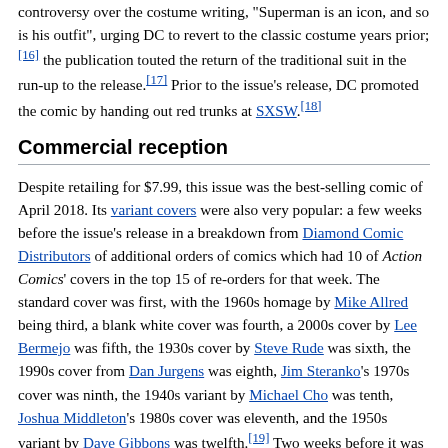controversy over the costume writing, "Superman is an icon, and so is his outfit", urging DC to revert to the classic costume years prior;[16] the publication touted the return of the traditional suit in the run-up to the release.[17] Prior to the issue's release, DC promoted the comic by handing out red trunks at SXSW.[18]
Commercial reception
Despite retailing for $7.99, this issue was the best-selling comic of April 2018. Its variant covers were also very popular: a few weeks before the issue's release in a breakdown from Diamond Comic Distributors of additional orders of comics which had 10 of Action Comics' covers in the top 15 of re-orders for that week. The standard cover was first, with the 1960s homage by Mike Allred being third, a blank white cover was fourth, a 2000s cover by Lee Bermejo was fifth, the 1930s cover by Steve Rude was sixth, the 1990s cover from Dan Jurgens was eighth, Jim Steranko's 1970s cover was ninth, the 1940s variant by Michael Cho was tenth, Joshua Middleton's 1980s cover was eleventh, and the 1950s variant by Dave Gibbons was twelfth.[19] Two weeks before it was released, DC Comics' co-publisher Dan DiDio announced retailers had purchased more than half a million copies.[20] The issue ended up being both the comic that sold the most issues as well as the one that made the most money in the North American market in April